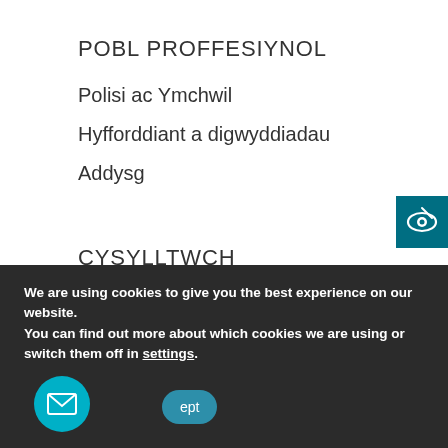POBL PROFFESIYNOL
Polisi ac Ymchwil
Hyfforddiant a digwyddiadau
Addysg
[Figure (logo): Teal/dark-teal logo icon with stylized eye and leaf shape in white on teal square background]
CYSYLLTWCH
Cyngor ar Dai
Cyngor ar Ddylod
We are using cookies to give you the best experience on our website.
You can find out more about which cookies we are using or switch them off in settings.
[Figure (illustration): Email envelope icon in circular teal button, and a cookie accept button]